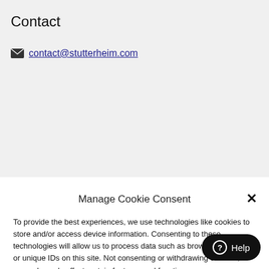Contact
contact@stutterheim.com
Manage Cookie Consent
To provide the best experiences, we use technologies like cookies to store and/or access device information. Consenting to these technologies will allow us to process data such as browsing behavior or unique IDs on this site. Not consenting or withdrawing consent, may adversely affect certain features and functions.
Accept
View preferences
Cookie Policy  Privacy Statement